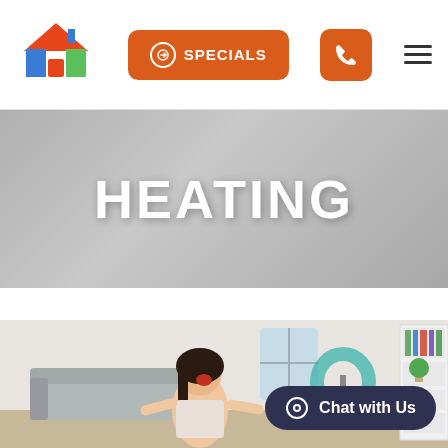[Figure (logo): Home services company logo with a house icon in red/orange/blue/green colors]
SPECIALS
[Figure (other): Orange phone icon button]
[Figure (other): Hamburger menu icon]
HEATING
[Figure (photo): A young girl with her mouth open and arms outstretched in a bright living room with a sofa, a teal fan, and a bookshelf in the background]
Chat with Us